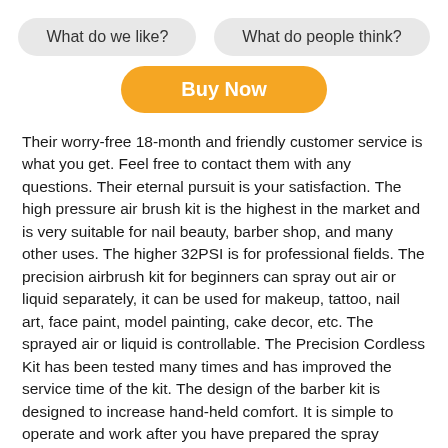What do we like?
What do people think?
Buy Now
Their worry-free 18-month and friendly customer service is what you get. Feel free to contact them with any questions. Their eternal pursuit is your satisfaction. The high pressure air brush kit is the highest in the market and is very suitable for nail beauty, barber shop, and many other uses. The higher 32PSI is for professional fields. The precision airbrush kit for beginners can spray out air or liquid separately, it can be used for makeup, tattoo, nail art, face paint, model painting, cake decor, etc. The sprayed air or liquid is controllable. The Precision Cordless Kit has been tested many times and has improved the service time of the kit. The design of the barber kit is designed to increase hand-held comfort. It is simple to operate and work after you have prepared the spray material. They use a higher capacity battery in their air brush. It takes 1.5 hours to fully charge their portable airbrush kit. It can work for an hour with their battery. The paint sprayer gun has a lot of different kinds of accessories